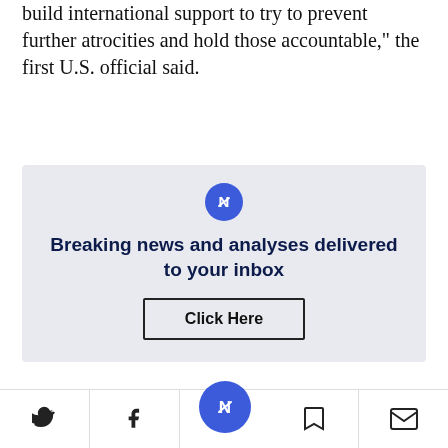build international support to try to prevent further atrocities and hold those accountable," the first U.S. official said.
[Figure (infographic): Newsletter signup promotional box with blue icon, bold headline 'Breaking news and analyses delivered to your inbox' and a 'Click Here' button]
Focus on military
Social sharing bar with Twitter, Facebook, bookmark, and email icons, plus central blue navigation button